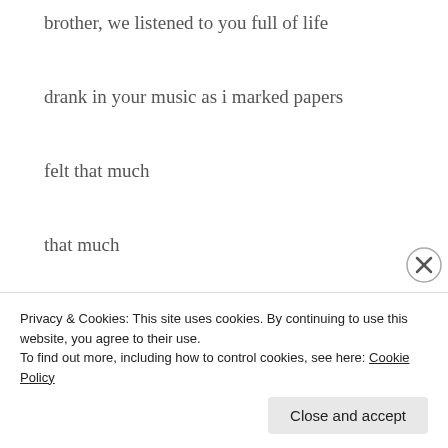brother, we listened to you full of life
drank in your music as i marked papers
felt that much
that much
that much kinder, lighter
more alive
where was i when molelekwa died?
(partial line cut off)
Privacy & Cookies: This site uses cookies. By continuing to use this website, you agree to their use.
To find out more, including how to control cookies, see here: Cookie Policy
Close and accept